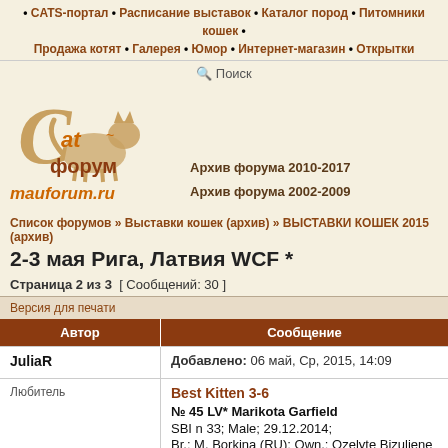• CATS-портал • Расписание выставок • Каталог пород • Питомники кошек • Продажа котят • Галерея • Юмор • Интернет-магазин • Открытки
Поиск
[Figure (logo): Cat forum logo with illustrated cat, text 'Cat форум' and 'mauforum.ru']
Архив форума 2010-2017
Архив форума 2002-2009
Список форумов » Выставки кошек (архив) » ВЫСТАВКИ КОШЕК 2015 (архив)
2-3 мая Рига, Латвия WCF *
Страница 2 из 3  [ Сообщений: 30 ]
| Автор | Сообщение |
| --- | --- |
| JuliaR | Добавлено: 06 май, Ср, 2015, 14:09 |
| Любитель | Best Kitten 3-6
№ 45 LV* Marikota Garfield
SBI n 33; Male; 29.12.2014;
Br.: M. Borkina (RU); Own.: Ozelyte Bizuliene Vaida |